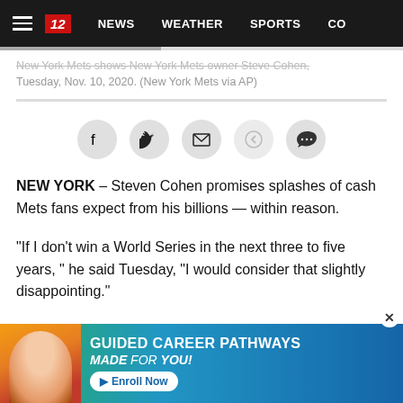NEWS  WEATHER  SPORTS  CO
New York Mets shows New York Mets owner Steve Cohen, Tuesday, Nov. 10, 2020. (New York Mets via AP)
[Figure (other): Social sharing buttons: Facebook, Twitter, Email, Back, Comment]
NEW YORK – Steven Cohen promises splashes of cash Mets fans expect from his billions — within reason.
“If I don’t win a World Series in the next three to five years, ” he said Tuesday, “I would consider that slightly disappointing.”
Four days after buying the Mets from the Wilpon and Katz families in a deal that valued the team at a baseball rec…
[Figure (other): Advertisement banner: Guided Career Pathways Made For You — Enroll Now]